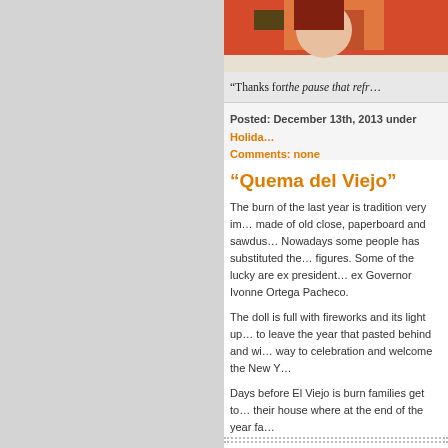[Figure (photo): Partial view of a vintage holiday Coca-Cola advertisement showing Santa Claus with a Christmas scene]
"Thanks for the pause that refr...
Posted: December 13th, 2013 under Holida...
Comments: none
“Quema del Viejo”
The burn of the last year is tradition very im... made of old close, paperboard and sawdus... Nowadays some people has substituted the... figures. Some of the lucky are ex president... ex Governor Ivonne Ortega Pacheco.
The doll is full with fireworks and its light up... to leave the year that pasted behind and wi... way to celebration and welcome the New Y...
Days before El Viejo is burn families get to... their house where at the end of the year fa...